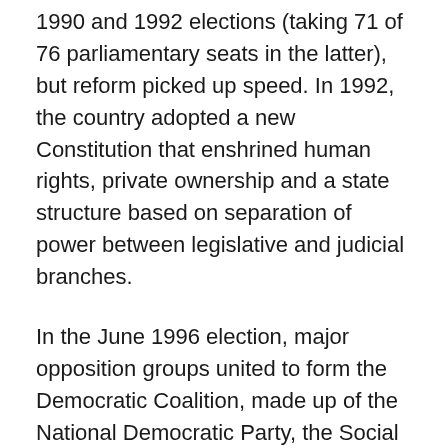1990 and 1992 elections (taking 71 of 76 parliamentary seats in the latter), but reform picked up speed. In 1992, the country adopted a new Constitution that enshrined human rights, private ownership and a state structure based on separation of power between legislative and judicial branches.
In the June 1996 election, major opposition groups united to form the Democratic Coalition, made up of the National Democratic Party, the Social Democratic Party, the Believers' Party and the Green Party. Somewhat to its own surprise, the Coalition won a healthy 50 of 76 seats in the State Ikh Hural, or parliament. The composition of the Hural is now: National Democrats 35, Social Democrats 15, MPRP 25, Mongolian Traditional United Party 1.
In addition to their economic reforms, the Democrats have